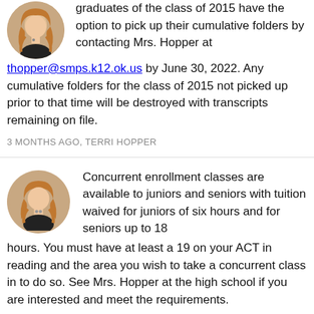graduates of the class of 2015 have the option to pick up their cumulative folders by contacting Mrs. Hopper at thopper@smps.k12.ok.us by June 30, 2022. Any cumulative folders for the class of 2015 not picked up prior to that time will be destroyed with transcripts remaining on file.
3 MONTHS AGO, TERRI HOPPER
Concurrent enrollment classes are available to juniors and seniors with tuition waived for juniors of six hours and for seniors up to 18 hours. You must have at least a 19 on your ACT in reading and the area you wish to take a concurrent class in to do so. See Mrs. Hopper at the high school if you are interested and meet the requirements.